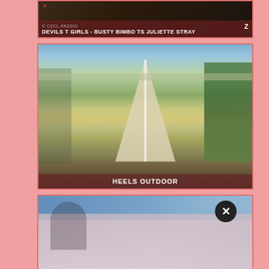[Figure (screenshot): Thumbnail image 1: dark toned video thumbnail with overlay text 'DEVILS T GIRLS - BUSTY BIMBO TS JULIETTE STRAY' and small site label]
[Figure (photo): Thumbnail image 2: outdoor rural road/path stretching into distance with green fields on right and fence on left, sky at top]
HEELS OUTDOOR
[Figure (photo): Thumbnail image 3: partially visible, muted tones, close-up photo with close/X button overlay in bottom right area]